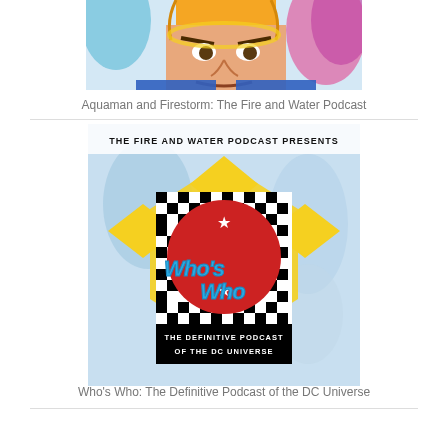[Figure (illustration): Partial comic book illustration showing an angry character with yellow/orange hair and blue costume, with pink/teal tropical background. Cropped at top—lower portion of face and torso visible.]
Aquaman and Firestorm: The Fire and Water Podcast
[Figure (illustration): Podcast cover art titled 'The Fire and Water Podcast Presents Who's Who: The Definitive Podcast of the DC Universe'. Features a bold graphic design with a yellow diamond border, black and white checkerboard inner border, the DC Comics 'C' logo in red with white stars, and 'Who's Who' in blue graffiti-style lettering. Background shows DC superhero comic artwork.]
Who's Who: The Definitive Podcast of the DC Universe